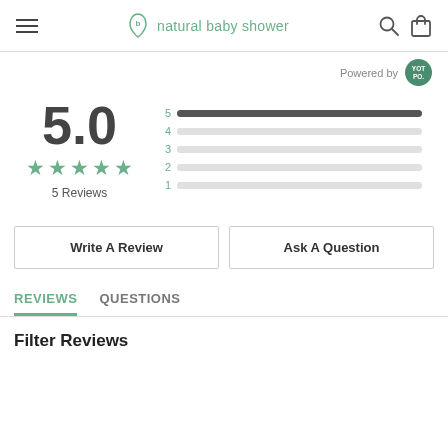natural baby shower
Powered by YOTPO
[Figure (infographic): Rating summary: 5.0 out of 5 stars, 5 Reviews, with horizontal bar chart showing 5-star bar filled and bars 4-1 empty]
Write A Review
Ask A Question
REVIEWS  QUESTIONS
Filter Reviews